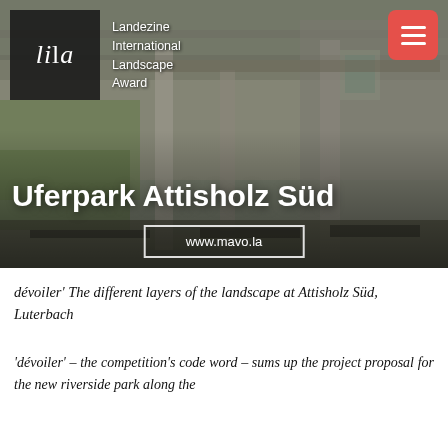[Figure (photo): Hero image showing an industrial/heritage building courtyard with stone walls, pillars, and green vegetation. Overlay text shows the project name and website.]
Landezine International Landscape Award
Uferpark Attisholz Süd
www.mavo.la
dévoiler' The different layers of the landscape at Attisholz Süd, Luterbach
'dévoiler' – the competition's code word – sums up the project proposal for the new riverside park along the